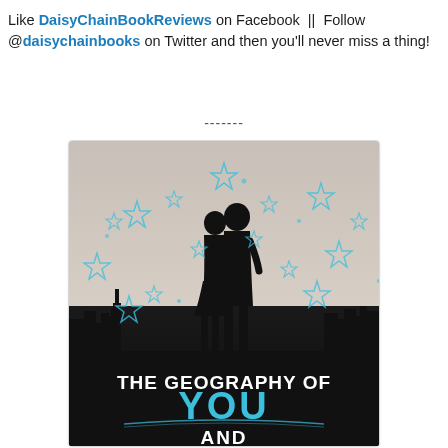Like DaisyChainBookReviews on Facebook || Follow @daisychainbooks on Twitter and then you'll never miss a thing!
-------
[Figure (photo): Book cover for 'The Geography of You and Me' showing silhouettes of a couple standing against a twilight cityscape background with blue hand-drawn stars scattered around them. The title text 'THE GEOGRAPHY OF YOU AND ME' appears at the bottom, with 'YOU' in blue and the rest in white.]